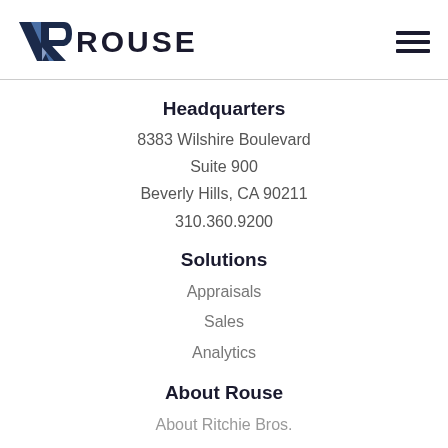[Figure (logo): Rouse logo with stylized R icon and ROUSE wordmark in dark navy, plus hamburger menu icon on right]
Headquarters
8383 Wilshire Boulevard
Suite 900
Beverly Hills, CA 90211
310.360.9200
Solutions
Appraisals
Sales
Analytics
About Rouse
About Ritchie Bros.
Knowledge Center